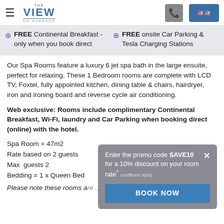THE VIEW ON HANNANS
FREE Continental Breakfast - only when you book direct
FREE onsite Car Parking & Tesla Charging Stations
Our Spa Rooms feature a luxury 6 jet spa bath in the large ensuite, perfect for relaxing. These 1 Bedroom rooms are complete with LCD TV, Foxtel, fully appointed kitchen, dining table & chairs, hairdryer, iron and ironing board and reverse cycle air conditioning.
Web exclusive: Rooms include complimentary Continental Breakfast, Wi-Fi, laundry and Car Parking when booking direct (online) with the hotel.
Spa Room = 47m2
Rate based on 2 guests
Max  guests 2
Bedding = 1 x Queen Bed
Please note these rooms are...
Enter the promo code SAVE10 for a 10% discount on your room rate* conditions apply